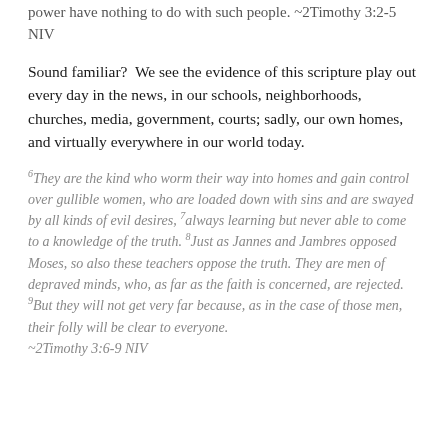power have nothing to do with such people. ~2Timothy 3:2-5 NIV
Sound familiar?  We see the evidence of this scripture play out every day in the news, in our schools, neighborhoods, churches, media, government, courts; sadly, our own homes, and virtually everywhere in our world today.
6They are the kind who worm their way into homes and gain control over gullible women, who are loaded down with sins and are swayed by all kinds of evil desires, 7always learning but never able to come to a knowledge of the truth. 8Just as Jannes and Jambres opposed Moses, so also these teachers oppose the truth. They are men of depraved minds, who, as far as the faith is concerned, are rejected. 9But they will not get very far because, as in the case of those men, their folly will be clear to everyone. ~2Timothy 3:6-9 NIV